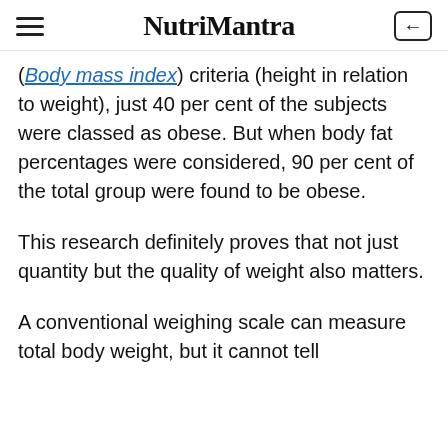NutriMantra
(Body mass index) criteria (height in relation to weight), just 40 per cent of the subjects were classed as obese. But when body fat percentages were considered, 90 per cent of the total group were found to be obese.
This research definitely proves that not just quantity but the quality of weight also matters.
A conventional weighing scale can measure total body weight, but it cannot tell